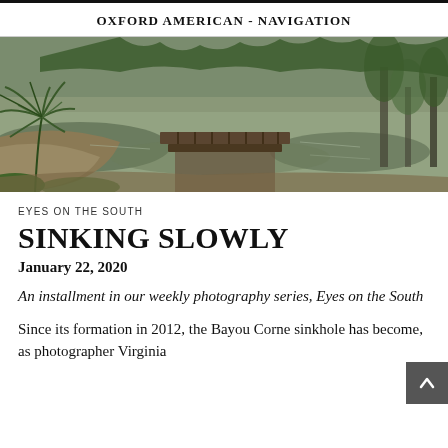OXFORD AMERICAN - NAVIGATION
[Figure (photo): A wide panoramic photograph of a bayou or swamp scene showing murky water, a sunken wooden dock or platform, a yucca-like plant on the left, and cypress trees and vegetation in the background.]
EYES ON THE SOUTH
SINKING SLOWLY
January 22, 2020
An installment in our weekly photography series, Eyes on the South
Since its formation in 2012, the Bayou Corne sinkhole has become, as photographer Virginia